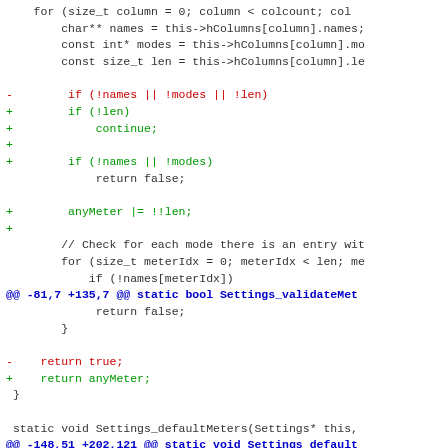[Figure (screenshot): A code diff (unified diff format) showing changes to C++ source code. Lines in red with '-' are removed lines, lines in green with '+' are added lines, blue lines are hunk headers, and black/dark lines are context lines. The diff shows modifications to Settings_validateMet and Settings_defaultMeters functions.]